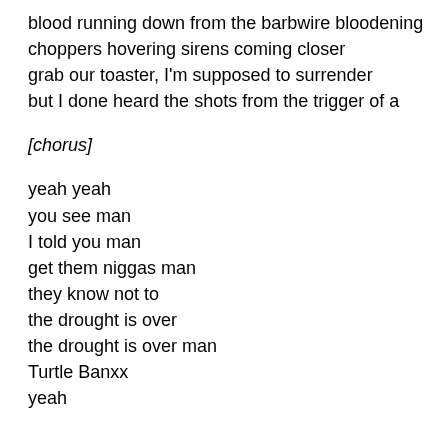blood running down from the barbwire bloodening
choppers hovering sirens coming closer
grab our toaster, I'm supposed to surrender
but I done heard the shots from the trigger of a
[chorus]
yeah yeah
you see man
I told you man
get them niggas man
they know not to
the drought is over
the drought is over man
Turtle Banxx
yeah